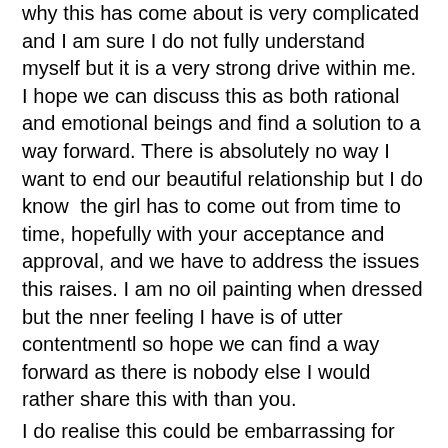why this has come about is very complicated and I am sure I do not fully understand myself but it is a very strong drive within me. I hope we can discuss this as both rational and emotional beings and find a solution to a way forward. There is absolutely no way I want to end our beautiful relationship but I do know  the girl has to come out from time to time, hopefully with your acceptance and approval, and we have to address the issues this raises. I am no oil painting when dressed but the nner feeling I have is of utter contentmentl so hope we can find a way forward as there is nobody else I would rather share this with than you.
I do realise this could be embarrassing for you particularly with friends and family. You will naturally worry what they will say if this ever comes out but please be assured I will never embarrass you with anyone to which you are connected. I also realise that this will leave you in